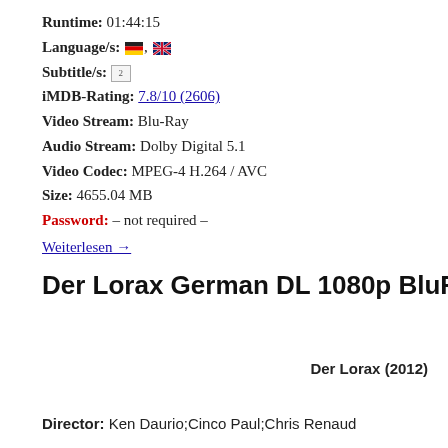Runtime: 01:44:15
Language/s: [DE flag], [UK flag]
Subtitle/s: [2]
iMDB-Rating: 7.8/10 (2606)
Video Stream: Blu-Ray
Audio Stream: Dolby Digital 5.1
Video Codec: MPEG-4 H.264 / AVC
Size: 4655.04 MB
Password: – not required –
Weiterlesen →
Der Lorax German DL 1080p BluRay x264
Der Lorax (2012)
Director: Ken Daurio;Cinco Paul;Chris Renaud